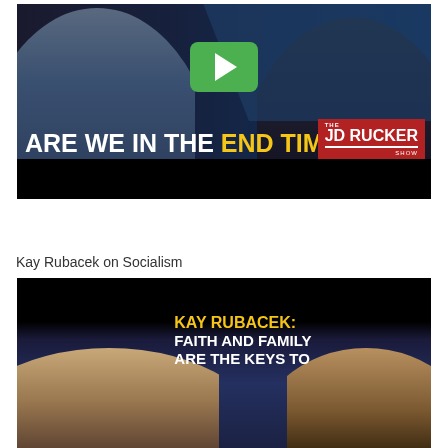[Figure (screenshot): Video thumbnail showing two people with text 'ARE WE IN THE END TIMES?' in white and yellow, with JD Rucker Show logo and a green play button overlay]
Kay Rubacek on Socialism
[Figure (screenshot): Video thumbnail showing two people with text 'KAY RUBACEK: FAITH AND FAMILY ARE THE KEYS TO' in white and yellow on dark background]